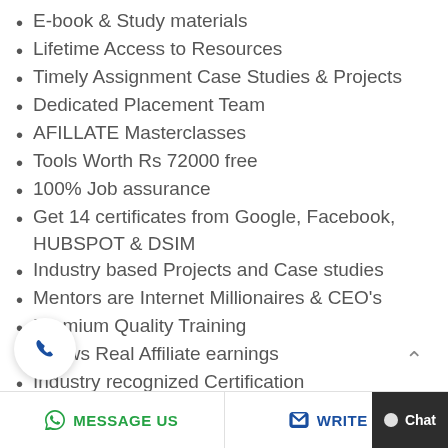E-book & Study materials
Lifetime Access to Resources
Timely Assignment Case Studies & Projects
Dedicated Placement Team
AFILLATE Masterclasses
Tools Worth Rs 72000 free
100% Job assurance
Get 14 certificates from Google, Facebook, HUBSPOT & DSIM
Industry based Projects and Case studies
Mentors are Internet Millionaires & CEO's
Premium Quality Training
Shows Real Affiliate earnings
Industry recognized Certification
MESSAGE US   WRITE U   Chat